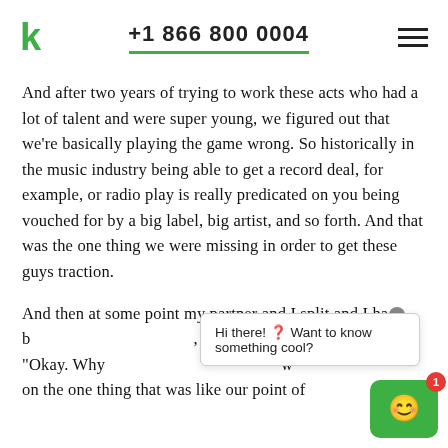+1 866 800 0004
And after two years of trying to work these acts who had a lot of talent and were super young, we figured out that we're basically playing the game wrong. So historically in the music industry being able to get a record deal, for example, or radio play is really predicated on you being vouched for by a big label, big artist, and so forth. And that was the one thing we were missing in order to get these guys traction.
And then at some point my partner and I split and I ha... "Okay. Why... on the one thing that was like our point of